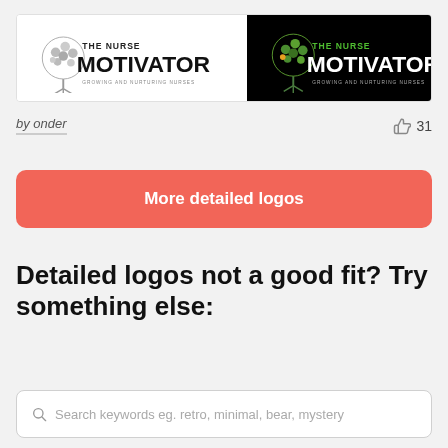[Figure (logo): The Nurse Motivator logo shown on white background and black background side by side. Tree icon with text THE NURSE MOTIVATOR GROWING AND NURTURING NURSES.]
by onder
31
More detailed logos
Detailed logos not a good fit? Try something else:
Search keywords eg. retro, minimal, bear, mystery